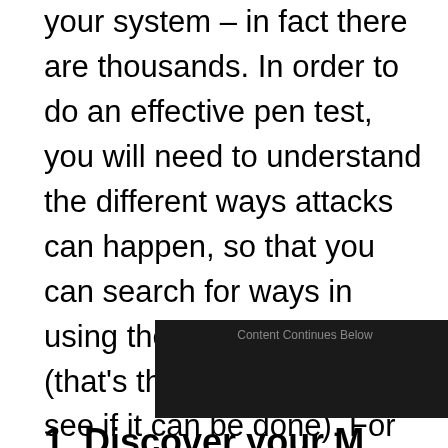your system – in fact there are thousands. In order to do an effective pen test, you will need to understand the different ways attacks can happen, so that you can search for ways in using the same approach (that's the point after all, to see if it can be done). For example, are you more prone to man in the middle attacks, phishing attacks, brute-force attacks, DDoS attacks or weak service exploitation? Understanding all the different ways hackers work is crucial to effective pen testing.
[Figure (other): Dark advertisement banner with text 'Content Continues Below']
1. Discover your M...